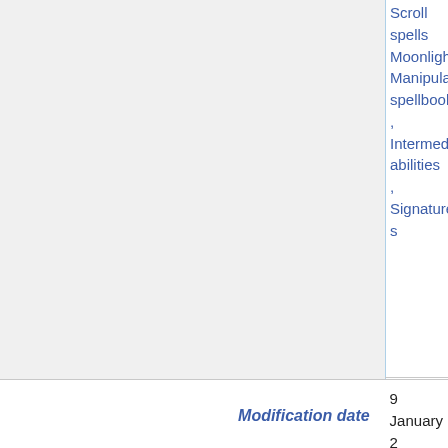Scroll spells , Moonlight Manipulation spellbook , Intermediate abilities , Signature s
| Modification date |  |
| --- | --- |
| 9 January 2... 08:19:08 + |  |
hide properties that link here
|  | Casts spell |
| --- | --- |
| Emaciated umbramagus + ⓘ , Shadefield eviscerator + ⓘ , Sinister Maelshyvean hierophant + ⓘ | Casts spell |
|  | Item casts spell |
| --- | --- |
| Item:Fetid antelope vellum + ⓘ | Item casts spell |